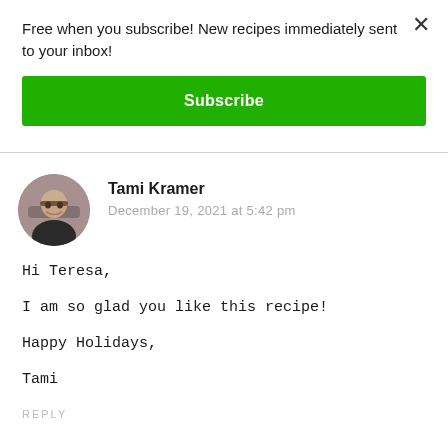Free when you subscribe! New recipes immediately sent to your inbox!
Subscribe
Tami Kramer
December 19, 2021 at 5:42 pm
Hi Teresa,

I am so glad you like this recipe!

Happy Holidays,

Tami
REPLY